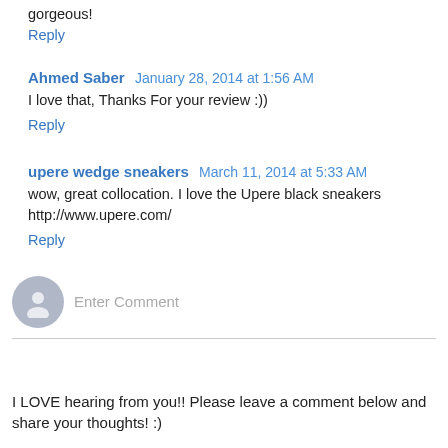gorgeous!
Reply
Ahmed Saber  January 28, 2014 at 1:56 AM
I love that, Thanks For your review :))
Reply
upere wedge sneakers  March 11, 2014 at 5:33 AM
wow, great collocation. I love the Upere black sneakers http://www.upere.com/
Reply
Enter Comment
I LOVE hearing from you!! Please leave a comment below and share your thoughts! :)